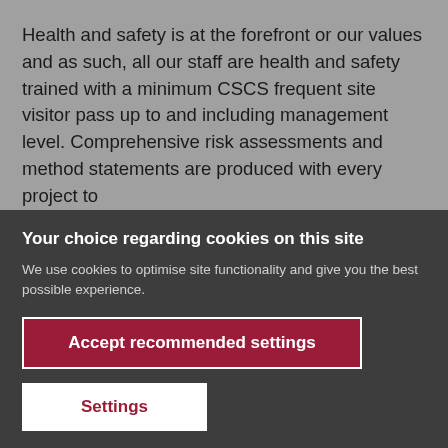Health and safety is at the forefront or our values and as such, all our staff are health and safety trained with a minimum CSCS frequent site visitor pass up to and including management level. Comprehensive risk assessments and method statements are produced with every project to
Your choice regarding cookies on this site
We use cookies to optimise site functionality and give you the best possible experience.
Accept recommended settings
Settings